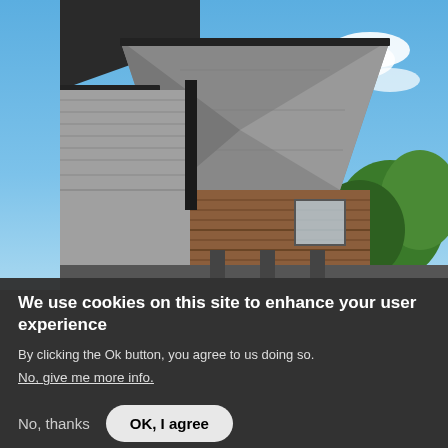[Figure (photo): Exterior photo of a modern house with wooden cladding and slate-style pyramid roof against a blue sky with clouds and trees in background]
We use cookies on this site to enhance your user experience
By clicking the Ok button, you agree to us doing so.
No, give me more info.
No, thanks
OK, I agree